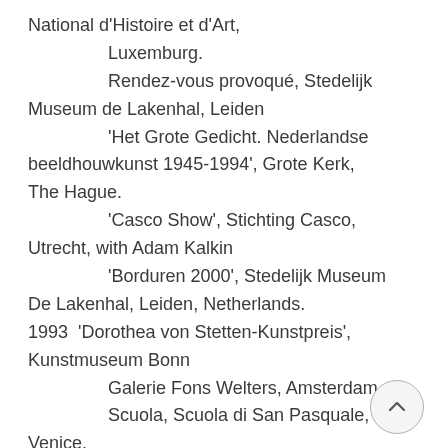National d'Histoire et d'Art, Luxemburg.
Rendez-vous provoqué, Stedelijk Museum de Lakenhal, Leiden
'Het Grote Gedicht. Nederlandse beeldhouwkunst 1945-1994', Grote Kerk, The Hague.
'Casco Show', Stichting Casco, Utrecht, with Adam Kalkin
'Borduren 2000', Stedelijk Museum De Lakenhal, Leiden, Netherlands.
1993  'Dorothea von Stetten-Kunstpreis', Kunstmuseum Bonn
Galerie Fons Welters, Amsterdam.
Scuola, Scuola di San Pasquale, Venice.
Jack Tilton Gallery, New York
Du fil à repeindre, FRAC,